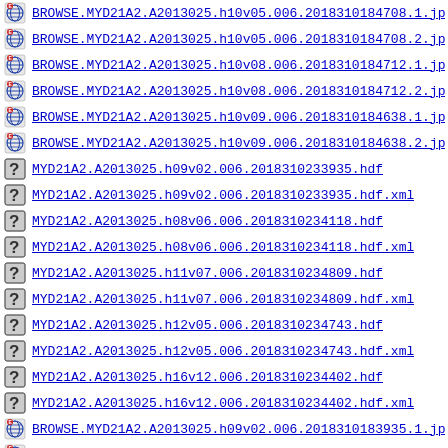BROWSE.MYD21A2.A2013025.h10v05.006.2018310184708.1.jp
BROWSE.MYD21A2.A2013025.h10v05.006.2018310184708.2.jp
BROWSE.MYD21A2.A2013025.h10v08.006.2018310184712.1.jp
BROWSE.MYD21A2.A2013025.h10v08.006.2018310184712.2.jp
BROWSE.MYD21A2.A2013025.h10v09.006.2018310184638.1.jp
BROWSE.MYD21A2.A2013025.h10v09.006.2018310184638.2.jp
MYD21A2.A2013025.h09v02.006.2018310233935.hdf
MYD21A2.A2013025.h09v02.006.2018310233935.hdf.xml
MYD21A2.A2013025.h08v06.006.2018310234118.hdf
MYD21A2.A2013025.h08v06.006.2018310234118.hdf.xml
MYD21A2.A2013025.h11v07.006.2018310234809.hdf
MYD21A2.A2013025.h11v07.006.2018310234809.hdf.xml
MYD21A2.A2013025.h12v05.006.2018310234743.hdf
MYD21A2.A2013025.h12v05.006.2018310234743.hdf.xml
MYD21A2.A2013025.h16v12.006.2018310234402.hdf
MYD21A2.A2013025.h16v12.006.2018310234402.hdf.xml
BROWSE.MYD21A2.A2013025.h09v02.006.2018310183935.1.jp
BROWSE.MYD21A2.A2013025.h09v02.006.2018310183935.2.jp